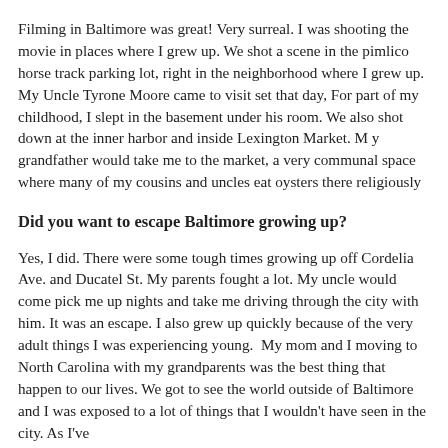Filming in Baltimore was great! Very surreal. I was shooting the movie in places where I grew up. We shot a scene in the pimlico horse track parking lot, right in the neighborhood where I grew up. My Uncle Tyrone Moore came to visit set that day, For part of my childhood, I slept in the basement under his room. We also shot down at the inner harbor and inside Lexington Market. M y grandfather would take me to the market, a very communal space where many of my cousins and uncles eat oysters there religiously
Did you want to escape Baltimore growing up?
Yes, I did. There were some tough times growing up off Cordelia Ave. and Ducatel St. My parents fought a lot. My uncle would come pick me up nights and take me driving through the city with him. It was an escape. I also grew up quickly because of the very adult things I was experiencing young.  My mom and I moving to North Carolina with my grandparents was the best thing that happen to our lives. We got to see the world outside of Baltimore and I was exposed to a lot of things that I wouldn't have seen in the city. As I've